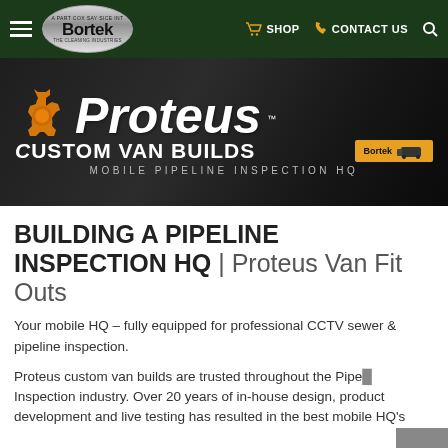Bortek — SHOP | CONTACT US
[Figure (illustration): Proteus Custom Van Builds – Mobile Pipeline Inspection HQ banner with orange gear logo on dark background with van silhouette]
BUILDING A PIPELINE INSPECTION HQ | Proteus Van Fit Outs
Your mobile HQ – fully equipped for professional CCTV sewer & pipeline inspection.
Proteus custom van builds are trusted throughout the Pipeline Inspection industry. Over 20 years of in-house design, product development and live testing has resulted in the best mobile HQ's